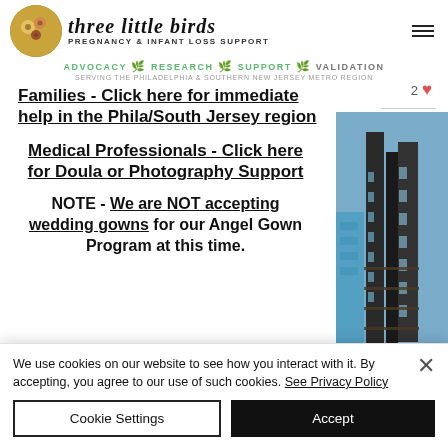[Figure (logo): Three Little Birds pregnancy and infant loss support logo with circular emblem and script text]
ADVOCACY • RESEARCH • SUPPORT • VALIDATION
SERVING THE PHILADELPHIA & SOUTHERN NEW JERSEY METRO REGION
2 ♥
Families - Click here for immediate help in the Phila/South Jersey region
Medical Professionals - Click here for Doula or Photography Support
NOTE - We are NOT accepting wedding gowns for our Angel Gown Program at this time.
[Figure (photo): Photograph of a building exterior with blue and brown tones, appears to be shot from below looking up]
We use cookies on our website to see how you interact with it. By accepting, you agree to our use of such cookies. See Privacy Policy
Cookie Settings
Accept